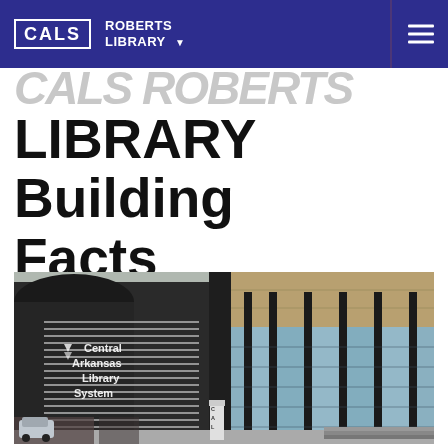CALS | ROBERTS LIBRARY
LIBRARY Building Facts
[Figure (photo): Exterior photograph of the Central Arkansas Library System (CALS) Roberts Library building, showing modern dark facade with horizontal white metal louvers on left side and 'Central Arkansas Library System' signage, and a glass curtain wall facade on the right side with tall vertical columns. A small CAL sign post is visible at the front.]